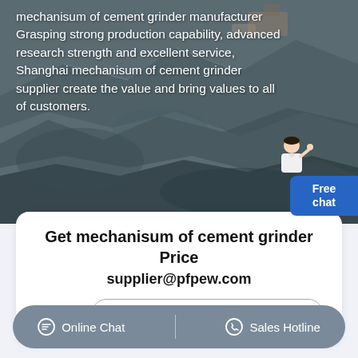[Figure (photo): Aerial view of a quarry or mining site with dark grey rock and excavation equipment visible in the background]
mechanisum of cement grinder manufacturer Grasping strong production capability, advanced research strength and excellent service, Shanghai mechanisum of cement grinder supplier create the value and bring values to all of customers.
Get mechanisum of cement grinder Price
supplier@pfpew.com
Products: Please Select!
Online Chat   Sales Hotline